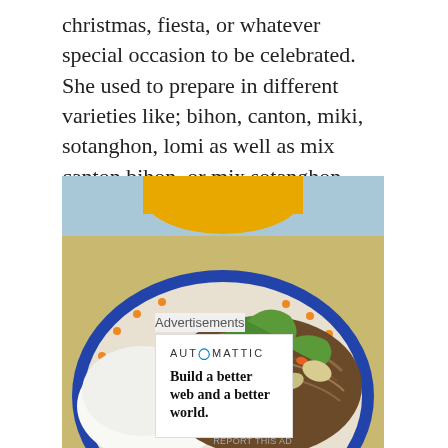christmas, fiesta, or whatever special occasion to be celebrated. She used to prepare in different varieties like; bihon, canton, miki, sotanghon, lomi as well as mix canton bihon, or mix sotanghon canton and sometimes sotanghon bihon:-)
[Figure (photo): A plate of Filipino pancit (noodle dish) with vegetables including green beans and carrots, served alongside white rice on a blue-rimmed plate. A yellow bowl is visible in the background.]
Advertisements
AUTOMATTIC
Build a better web and a better world.